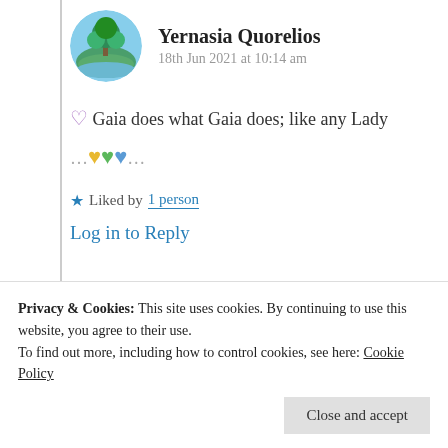[Figure (illustration): Circular avatar image showing a tree on an island with blue sky and water]
Yernasia Quorelios
18th Jun 2021 at 10:14 am
💜 Gaia does what Gaia does; like any Lady
…💛💚💙…
★ Liked by 1 person
Log in to Reply
Privacy & Cookies: This site uses cookies. By continuing to use this website, you agree to their use.
To find out more, including how to control cookies, see here: Cookie Policy
Close and accept
Yes she does, creates magically